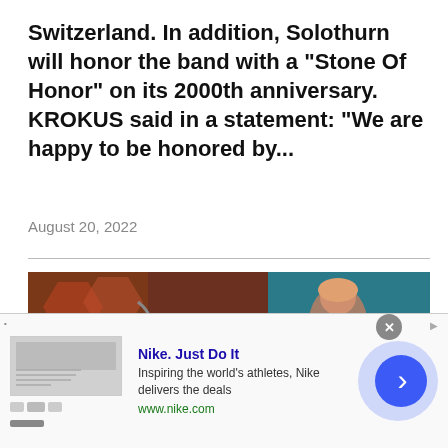Switzerland. In addition, Solothurn will honor the band with a "Stone Of Honor" on its 2000th anniversary. KROKUS said in a statement: "We are happy to be honored by...
August 20, 2022
[Figure (photo): Photo of a band performing on stage, with colorful lighting and a performer visible.]
This website uses cookies and other tracking technologies to enhance user experience and to analyze performance and traffic on our website. Information about your use of our site may also be shared with social media, advertising, retail and analytics providers and partners. Privacy Policy
Nike. Just Do It
Inspiring the world's athletes, Nike delivers the deals
www.nike.com